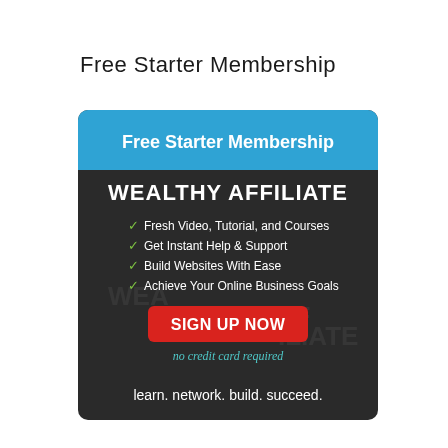Free Starter Membership
[Figure (infographic): Wealthy Affiliate Free Starter Membership promotional banner with blue header, dark background, green checkmarks listing benefits (Fresh Video, Tutorial, and Courses; Get Instant Help & Support; Build Websites With Ease; Achieve Your Online Business Goals), a red SIGN UP NOW button, 'no credit card required' text in teal cursive, watermark 'WEALTHY AFFILIATE' in background, and tagline 'learn. network. build. succeed.' at bottom.]